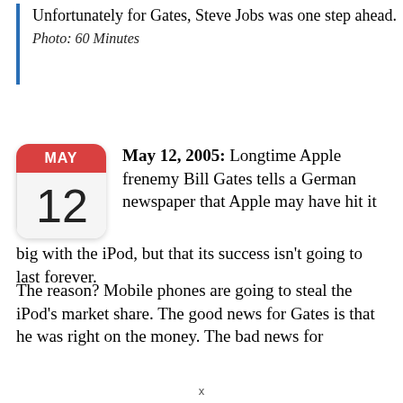Unfortunately for Gates, Steve Jobs was one step ahead.
Photo: 60 Minutes
May 12, 2005: Longtime Apple frenemy Bill Gates tells a German newspaper that Apple may have hit it big with the iPod, but that its success isn't going to last forever.
The reason? Mobile phones are going to steal the iPod's market share. The good news for Gates is that he was right on the money. The bad news for